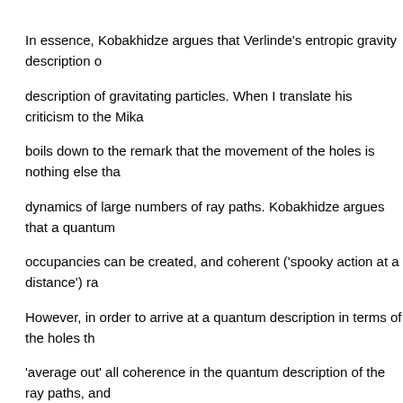In essence, Kobakhidze argues that Verlinde's entropic gravity description of gravitating particles. When I translate his criticism to the Mika boils down to the remark that the movement of the holes is nothing else tha dynamics of large numbers of ray paths. Kobakhidze argues that a quantum occupancies can be created, and coherent ('spooky action at a distance') ra However, in order to arrive at a quantum description in terms of the holes th 'average out' all coherence in the quantum description of the ray paths, and follow a classical dynamics. These holes would represent non-quantum par distance'. Yet we know that is not what happens in experiments with gravita a 'spooky action at a distance' while gravitating under the influence of the ea
The end of entropic gravity?
Not quite. Verlinde's rebuttal is that Kobakhidze does not take into account t between the fast dynamics of the ray paths and the slow  dynamics of the h arguments put forward in terms of the Mikado model.)
Verlinde: "An important ingredient is that the timescale of the microscopic dy than the macroscopic movements. That is to say, the macroscopic moveme